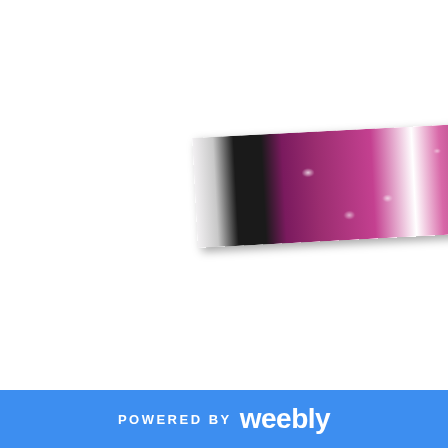[Figure (photo): A horizontal banner photo showing clothing on display — a purple/magenta floral patterned dress or top with white floral embellishments, alongside a black strap/belt, and a solid purple/magenta garment to the right, displayed against a light background. The photo appears slightly tilted at an angle.]
POWERED BY weebly